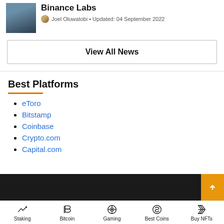[Figure (photo): Person wearing dark Binance-branded hoodie, profile photo thumbnail on left side]
Binance Labs
Joel Oluwatobi • Updated: 04 September 2022
View All News
Best Platforms
eToro
Bitstamp
Coinbase
Crypto.com
Capital.com
Staking  Bitcoin  Gaming  Best Coins  Buy NFTs